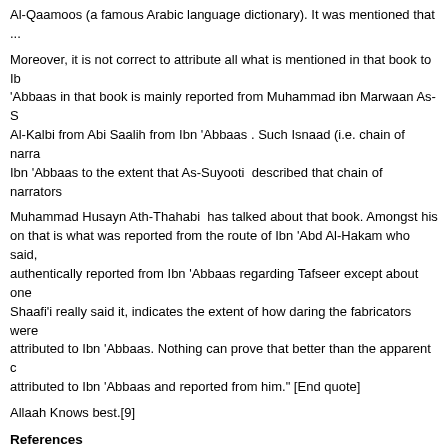Al-Qaamoos (a famous Arabic language dictionary). It was mentioned that ...
Moreover, it is not correct to attribute all what is mentioned in that book to Ibn 'Abbaas in that book is mainly reported from Muhammad ibn Marwaan As-S... Al-Kalbi from Abi Saalih from Ibn 'Abbaas . Such Isnaad (i.e. chain of narra... Ibn 'Abbaas to the extent that As-Suyooti  described that chain of narrators ...
Muhammad Husayn Ath-Thahabi  has talked about that book. Amongst his ... on that is what was reported from the route of Ibn 'Abd Al-Hakam who said, ... authentically reported from Ibn 'Abbaas regarding Tafseer except about one... Shaafi'i really said it, indicates the extent of how daring the fabricators were... attributed to Ibn 'Abbaas. Nothing can prove that better than the apparent c... attributed to Ibn 'Abbaas and reported from him." [End quote]
Allaah Knows best.[9]
References
^ IbnAbbas.pdf, page v-vi
^ Manna' al-Qattan, Mabahith fi Ulum al-Quran, Maktaba al-Ma'arif, p. 371
^ "Is Tafseer "Ibn 'Abbaas" Tanweer al-Miqbaas min Tafseer Ibn 'Abbaas Au...
^ Tanwīr al-Miqbās min Tafsīr Ibn 'Abbās (PDF). Royal Aal al-Bayt Institute ...
^ Philips, Bilal (2005). Usool at-Tafseer. International Islamic Publishing Ho...
^ Al ash-Sheikh, Saleh. المناهج المفسرين.
^ صح نسبة كتاب (تنوير المقباس من تفسير ابن عباس) – للشيخ أبو إسحاق الحويني ^
^ "Tanweer Al-Miqbaas min Tafseer Ibn 'Abbaas".
^ "Tanweer Al-Miqbaas min Tafseer Ibn 'Abbaas".
Read: https://studentofknowledge20.wordpress.com/2020/07/05/is-tanwir-a...